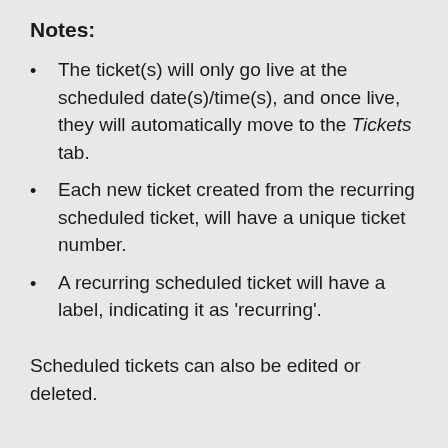Notes:
The ticket(s) will only go live at the scheduled date(s)/time(s), and once live, they will automatically move to the Tickets tab.
Each new ticket created from the recurring scheduled ticket, will have a unique ticket number.
A recurring scheduled ticket will have a label, indicating it as 'recurring'.
Scheduled tickets can also be edited or deleted.